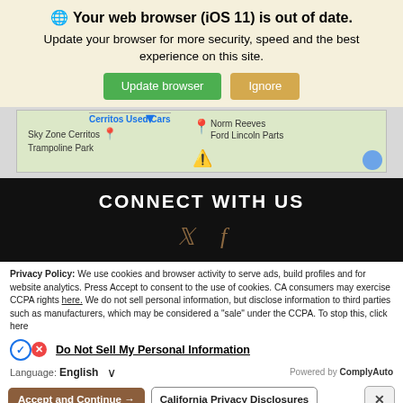🌐 Your web browser (iOS 11) is out of date.
Update your browser for more security, speed and the best experience on this site.
[Figure (screenshot): Google Maps partial view showing Sky Zone Cerritos Trampoline Park and Norm Reeves Ford Lincoln Parts]
CONNECT WITH US
[Figure (illustration): Twitter and Facebook social media icons in brown/gold color]
Privacy Policy: We use cookies and browser activity to serve ads, build profiles and for website analytics. Press Accept to consent to the use of cookies. CA consumers may exercise CCPA rights here. We do not sell personal information, but disclose information to third parties such as manufacturers, which may be considered a "sale" under the CCPA. To stop this, click here
Do Not Sell My Personal Information
Language: English   ∨   Powered by ComplyAuto
Accept and Continue →   California Privacy Disclosures   ×